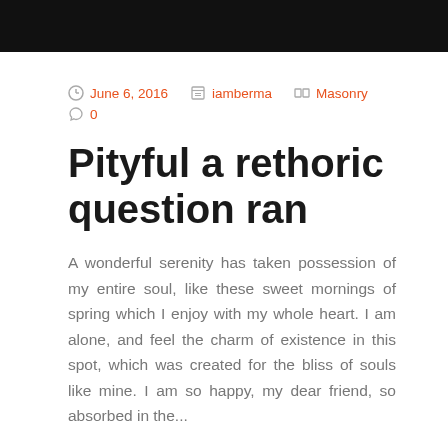[Figure (photo): Black header bar at the top of the page]
June 6, 2016   iamberma   Masonry   0
Pityful a rethoric question ran
A wonderful serenity has taken possession of my entire soul, like these sweet mornings of spring which I enjoy with my whole heart. I am alone, and feel the charm of existence in this spot, which was created for the bliss of souls like mine. I am so happy, my dear friend, so absorbed in the...
Read More